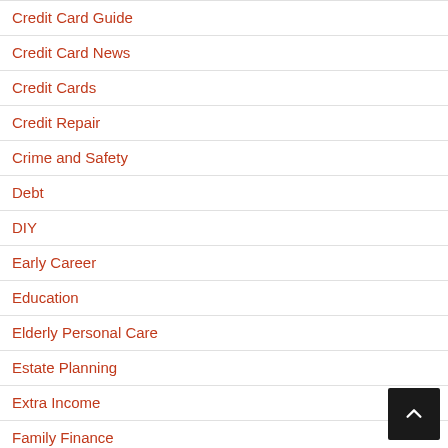Credit Card Guide
Credit Card News
Credit Cards
Credit Repair
Crime and Safety
Debt
DIY
Early Career
Education
Elderly Personal Care
Estate Planning
Extra Income
Family Finance
Financial Advisor